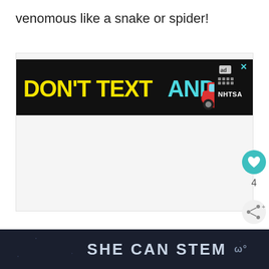venomous like a snake or spider!
[Figure (screenshot): Advertisement banner: 'DON'T TEXT AND [car emoji]' with NHTSA logo on black background, with a close (X) button]
[Figure (infographic): Like button (teal circle with heart icon), count '4', and share button (light circle with share icon)]
[Figure (infographic): Dark bottom banner with 'SHE CAN STEM' text in bold white/light grey and a logo on the right]